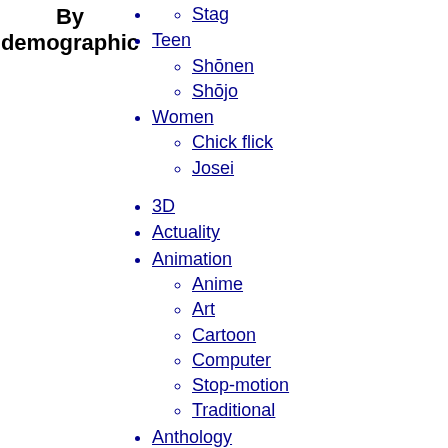By demographic
Stag
Teen
Shōnen
Shōjo
Women
Chick flick
Josei
3D
Actuality
Animation
Anime
Art
Cartoon
Computer
Stop-motion
Traditional
Anthology
Art
B movie
Black-and-white
Blockbuster
Cinéma vérité
Classical Hollywood cinema
Collage